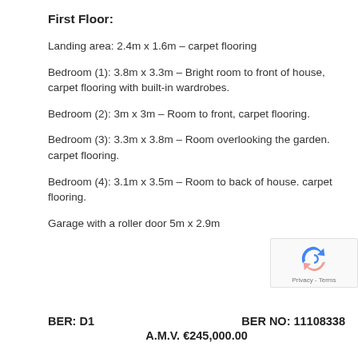First Floor:
Landing area: 2.4m x 1.6m – carpet flooring
Bedroom (1): 3.8m x 3.3m – Bright room to front of house, carpet flooring with built-in wardrobes.
Bedroom (2): 3m x 3m – Room to front, carpet flooring.
Bedroom (3): 3.3m x 3.8m – Room overlooking the garden. carpet flooring.
Bedroom (4): 3.1m x 3.5m – Room to back of house. carpet flooring.
Garage with a roller door 5m x 2.9m
BER: D1    BER NO: 11108338
A.M.V. €245,000.00